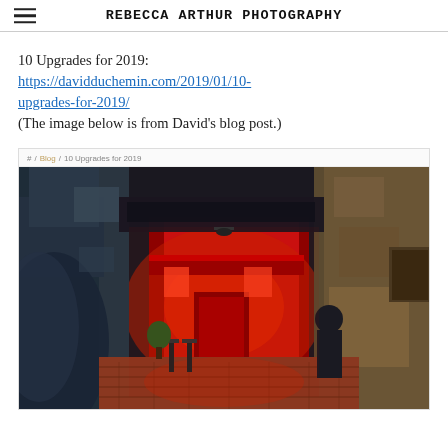REBECCA ARTHUR PHOTOGRAPHY
10 Upgrades for 2019: https://davidduchemin.com/2019/01/10-upgrades-for-2019/ (The image below is from David's blog post.)
[Figure (screenshot): Screenshot of David DuChemin's blog post '10 Upgrades for 2019' showing a breadcrumb navigation and a photograph of a narrow European alley at night with a bright red-lit storefront in the background, stone walls on both sides, brick pavement, and a person silhouetted on the right.]